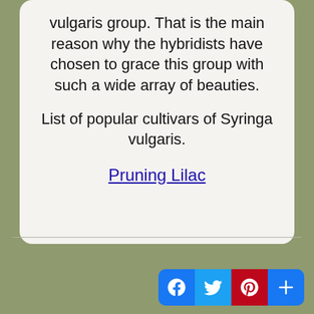vulgaris group. That is the main reason why the hybridists have chosen to grace this group with such a wide array of beauties.
List of popular cultivars of Syringa vulgaris.
Pruning Lilac